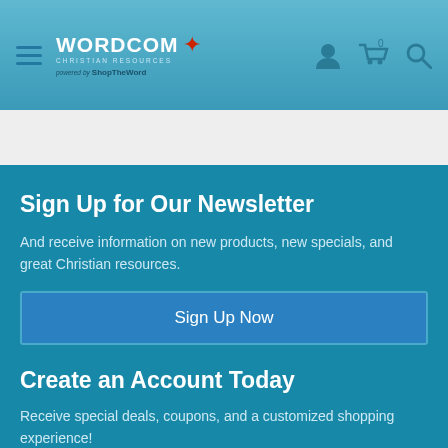WORDCOM Christian Resources — powered by ShopTheWord
Sign Up for Our Newsletter
And receive information on new products, new specials, and great Christian resources.
Sign Up Now
Create an Account Today
Receive special deals, coupons, and a customized shopping experience!